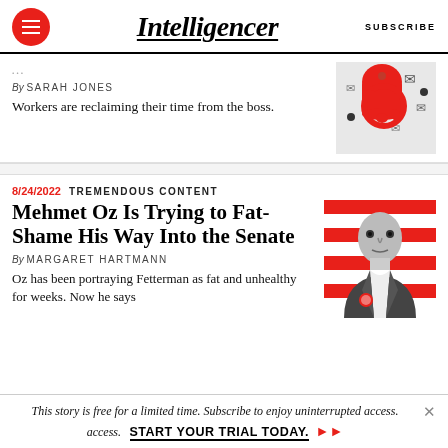Intelligencer | SUBSCRIBE
By SARAH JONES
Workers are reclaiming their time from the boss.
[Figure (illustration): Red notification bell with a red prohibition/no sign overlaid on it, with envelope icons in the background]
8/24/2022  TREMENDOUS CONTENT
Mehmet Oz Is Trying to Fat-Shame His Way Into the Senate
By MARGARET HARTMANN
Oz has been portraying Fetterman as fat and unhealthy for weeks. Now he says
[Figure (photo): Black and white photo of Mehmet Oz in a suit against a red and white striped background]
This story is free for a limited time. Subscribe to enjoy uninterrupted access.  START YOUR TRIAL TODAY. ➤➤